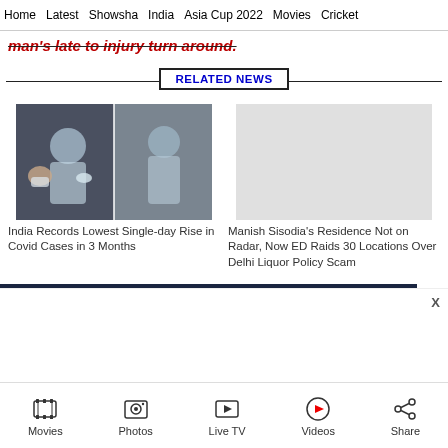Home   Latest   Showsha   India   Asia Cup 2022   Movies   Cricket
man's late to injury turn around.
RELATED NEWS
[Figure (photo): Two healthcare workers in PPE performing a Covid nasal swab test on a patient]
India Records Lowest Single-day Rise in Covid Cases in 3 Months
[Figure (photo): Light gray placeholder image for Manish Sisodia news article]
Manish Sisodia's Residence Not on Radar, Now ED Raids 30 Locations Over Delhi Liquor Policy Scam
Movies   Photos   Live TV   Videos   Share